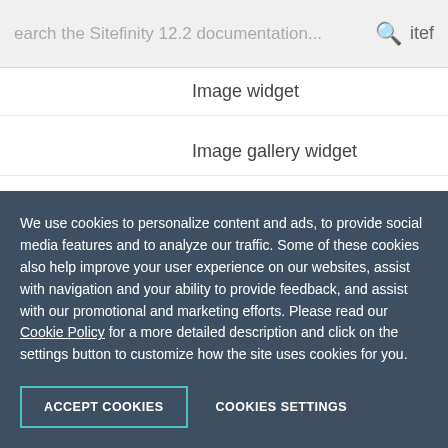Search the Sitefinity 12.2 documentation...
Image widget
Image gallery widget
List widget
News widget
Video widget
Video gallery widget
Navigation widgets
We use cookies to personalize content and ads, to provide social media features and to analyze our traffic. Some of these cookies also help improve your user experience on our websites, assist with navigation and your ability to provide feedback, and assist with our promotional and marketing efforts. Please read our Cookie Policy for a more detailed description and click on the settings button to customize how the site uses cookies for you.
ACCEPT COOKIES
COOKIES SETTINGS